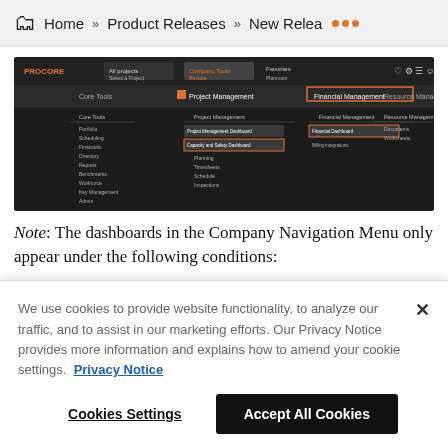Home » Product Releases » New Relea ...
[Figure (screenshot): Procore application navigation menu showing Core Tools, Project Management, Financial Management, Resource Management, and Custom Tools sections on a dark background]
Note: The dashboards in the Company Navigation Menu only appear under the following conditions:
We use cookies to provide website functionality, to analyze our traffic, and to assist in our marketing efforts. Our Privacy Notice provides more information and explains how to amend your cookie settings.  Privacy Notice
Cookies Settings    Accept All Cookies